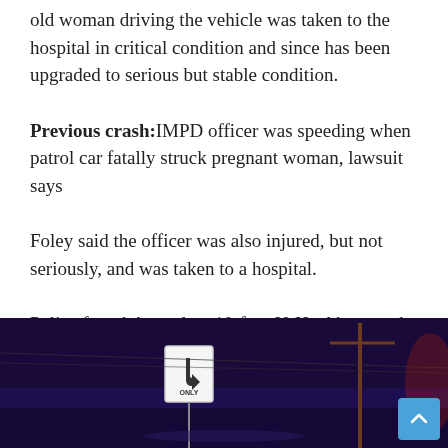old woman driving the vehicle was taken to the hospital in critical condition and since has been upgraded to serious but stable condition.
Previous crash: IMPD officer was speeding when patrol car fatally struck pregnant woman, lawsuit says
Foley said the officer was also injured, but not seriously, and was taken to a hospital.
Police found the stolen, 10-foot U-Haul box truck west of the intersection and detained two people inside.
[Figure (photo): Nighttime photo of a road intersection with a right-turn-only sign visible in the foreground under blue/purple lighting. Utility poles and wires visible in the background.]